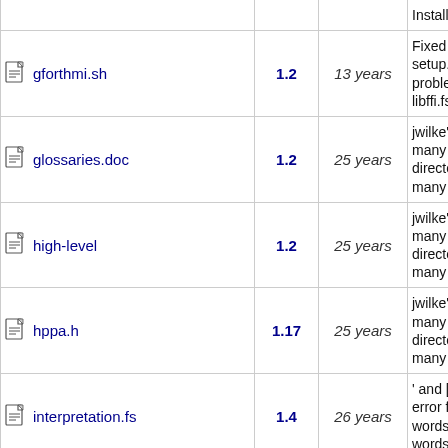| File | Ver. | Age | Description |
| --- | --- | --- | --- |
| gforthmi.sh | 1.2 | 13 years | Fixed Windows setup.exe generation problems (especially libffi.fs) |
| glossaries.doc | 1.2 | 25 years | jwilke's changes: Moved many files to other directories renamed many files other... |
| high-level | 1.2 | 25 years | jwilke's changes: Moved many files to other directories renamed many files other... |
| hppa.h | 1.17 | 25 years | jwilke's changes: Moved many files to other directories renamed many files other... |
| interpretation.fs | 1.4 | 26 years | ' and ['] now deliver an error for compile-only words. renamed special- words in... |
| io-dos.h | 1.3 | 25 years | jwilke's changes: Moved many files to other directories |